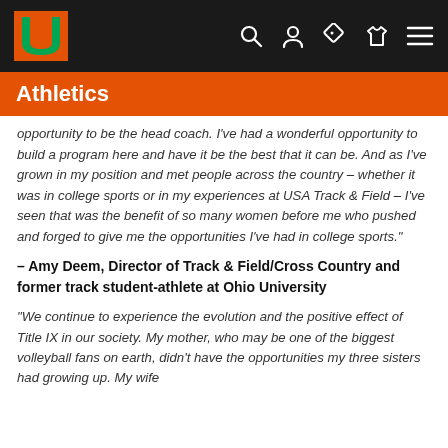Athletics
opportunity to be the head coach. I've had a wonderful opportunity to build a program here and have it be the best that it can be. And as I've grown in my position and met people across the country – whether it was in college sports or in my experiences at USA Track & Field – I've seen that was the benefit of so many women before me who pushed and forged to give me the opportunities I've had in college sports."
– Amy Deem, Director of Track & Field/Cross Country and former track student-athlete at Ohio University
"We continue to experience the evolution and the positive effect of Title IX in our society. My mother, who may be one of the biggest volleyball fans on earth, didn't have the opportunities my three sisters had growing up. My wife